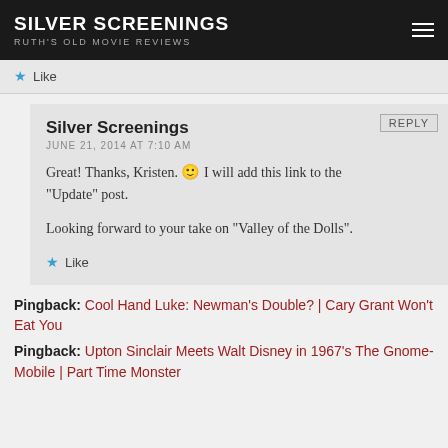SILVER SCREENINGS
RUTH'S OLD MOVIE REVIEWS
Like
Silver Screenings
JUNE 21, 2014 AT 7:10 AM
Great! Thanks, Kristen. 🙂 I will add this link to the "Update" post.
Looking forward to your take on “Valley of the Dolls”.
Like
Pingback: Cool Hand Luke: Newman's Double? | Cary Grant Won't Eat You
Pingback: Upton Sinclair Meets Walt Disney in 1967's The Gnome-Mobile | Part Time Monster